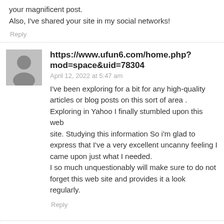your magnificent post.
Also, I've shared your site in my social networks!
Reply
https://www.ufun6.com/home.php?mod=space&uid=78304
April 12, 2022 at 5:47 am
I've been exploring for a bit for any high-quality articles or blog posts on this sort of area . Exploring in Yahoo I finally stumbled upon this web site. Studying this information So i'm glad to express that I've a very excellent uncanny feeling I came upon just what I needed.
I so much unquestionably will make sure to do not forget this web site and provides it a look regularly.
Reply
https://btpars.com/home.php?mod=space&uid=8226